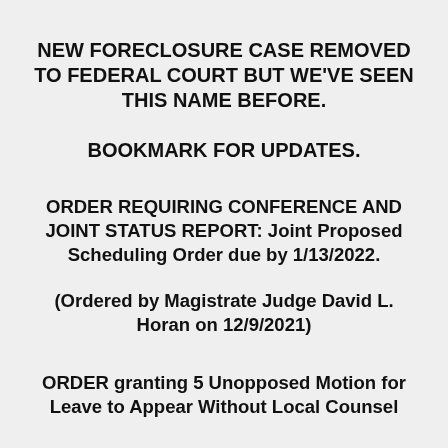NEW FORECLOSURE CASE REMOVED TO FEDERAL COURT BUT WE'VE SEEN THIS NAME BEFORE. BOOKMARK FOR UPDATES.
ORDER REQUIRING CONFERENCE AND JOINT STATUS REPORT: Joint Proposed Scheduling Order due by 1/13/2022.
(Ordered by Magistrate Judge David L. Horan on 12/9/2021)
ORDER granting 5 Unopposed Motion for Leave to Appear Without Local Counsel